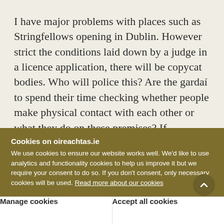I have major problems with places such as Stringfellows opening in Dublin. However strict the conditions laid down by a judge in a licence application, there will be copycat bodies. Who will police this? Are the gardaí to spend their time checking whether people make physical contact with each other or what they do on these premises? If prostitution does not travel in the same coach on the same train as the commercialisation of sexuality, it is likely of...
Cookies on oireachtas.ie
We use cookies to ensure our website works well. We'd like to use analytics and functionality cookies to help us improve it but we require your consent to do so. If you don't consent, only necessary cookies will be used. Read more about our cookies
Manage cookies
Accept all cookies